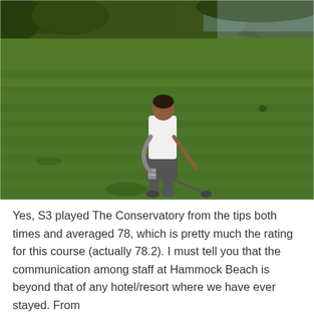[Figure (photo): A golfer standing on a green golf course fairway, viewed from behind. The person is wearing a white shirt and dark shorts, holding a golf club after a swing. The background shows lush green fairway grass extending to a tree line. The photo is taken in warm, late-afternoon light.]
Yes, S3 played The Conservatory from the tips both times and averaged 78, which is pretty much the rating for this course (actually 78.2). I must tell you that the communication among staff at Hammock Beach is beyond that of any hotel/resort where we have ever stayed. From